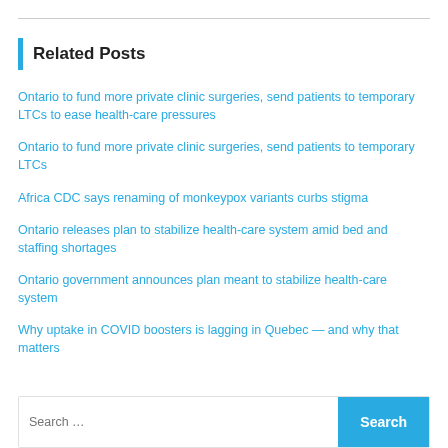Related Posts
Ontario to fund more private clinic surgeries, send patients to temporary LTCs to ease health-care pressures
Ontario to fund more private clinic surgeries, send patients to temporary LTCs
Africa CDC says renaming of monkeypox variants curbs stigma
Ontario releases plan to stabilize health-care system amid bed and staffing shortages
Ontario government announces plan meant to stabilize health-care system
Why uptake in COVID boosters is lagging in Quebec — and why that matters